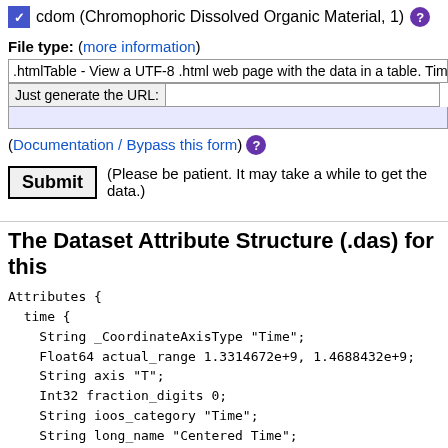☑ cdom (Chromophoric Dissolved Organic Material, 1) ?
File type: (more information)
.htmlTable - View a UTF-8 .html web page with the data in a table. Times a
Just generate the URL:
(Documentation / Bypass this form) ?
Submit (Please be patient. It may take a while to get the data.)
The Dataset Attribute Structure (.das) for this
Attributes {
  time {
    String _CoordinateAxisType "Time";
    Float64 actual_range 1.3314672e+9, 1.4688432e+9;
    String axis "T";
    Int32 fraction_digits 0;
    String ioos_category "Time";
    String long_name "Centered Time";
    String standard_name "time";
    String time_origin "01-JAN-1970-00:00:00"